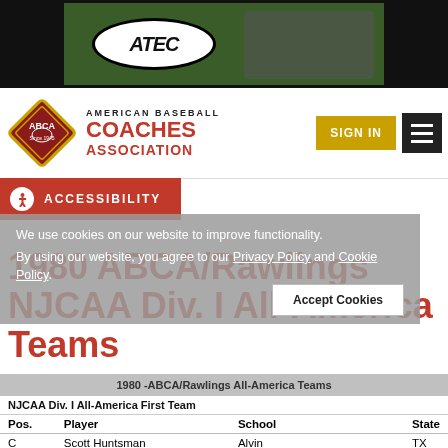[Figure (photo): ATEC brand banner with person using baseball pitching machine on green background]
[Figure (logo): ABCA (American Baseball Coaches Association) logo with diamond shape and text]
ACCESSIBILITY
We use cookies on our website to improve functionality.
By using our website, you agree to our Privacy Policy and Cookie Policy.
1980 ABCA/Rawlings NJCAA Div. I All-America Teams
| Pos. | Player | School | State |
| --- | --- | --- | --- |
| C | Scott Huntsman | Alvin | TX |
| INF | Chuck Havelka | Lake County | IL |